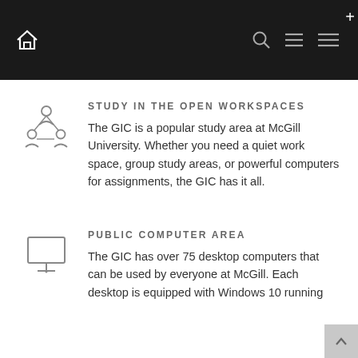McGill GIC navigation bar
STUDY IN THE OPEN WORKSPACES
The GIC is a popular study area at McGill University. Whether you need a quiet work space, group study areas, or powerful computers for assignments, the GIC has it all.
PUBLIC COMPUTER AREA
The GIC has over 75 desktop computers that can be used by everyone at McGill. Each desktop is equipped with Windows 10 running